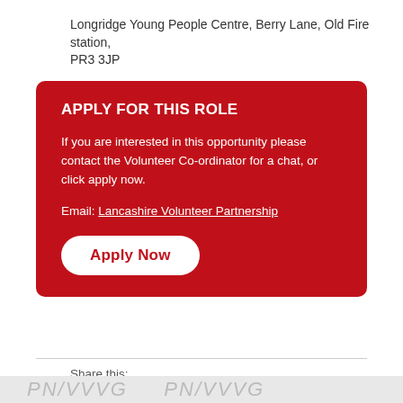Longridge Young People Centre, Berry Lane, Old Fire station, PR3 3JP
APPLY FOR THIS ROLE
If you are interested in this opportunity please contact the Volunteer Co-ordinator for a chat, or click apply now.
Email: Lancashire Volunteer Partnership
Apply Now
Share this:
[Figure (infographic): Social media share icons: Facebook, Twitter, LinkedIn, WhatsApp, Messenger]